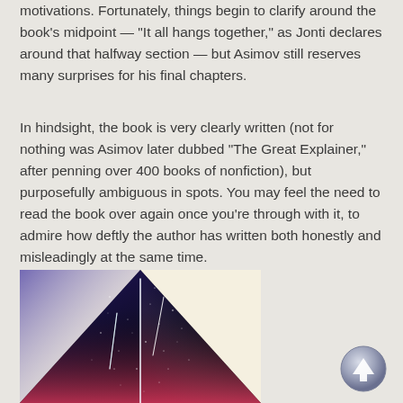motivations. Fortunately, things begin to clarify around the book’s midpoint — “It all hangs together,” as Jonti declares around that halfway section — but Asimov still reserves many surprises for his final chapters.
In hindsight, the book is very clearly written (not for nothing was Asimov later dubbed “The Great Explainer,” after penning over 400 books of nonfiction), but purposefully ambiguous in spots. You may feel the need to read the book over again once you’re through with it, to admire how deftly the author has written both honestly and misleadingly at the same time.
[Figure (illustration): Book cover or artistic illustration showing a dark triangular space scene with stars and streaks of light (meteors/comets) against a black background, with colorful gradients of blue/purple on the left and pink/orange on the bottom, set against a cream background.]
[Figure (other): A circular scroll-up button with an upward-pointing arrow, rendered in a metallic grey/blue style.]